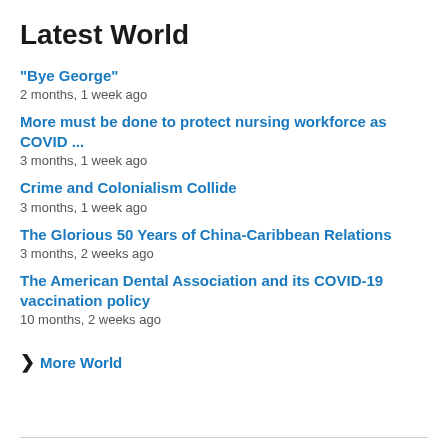Latest World
"Bye George"
2 months, 1 week ago
More must be done to protect nursing workforce as COVID ...
3 months, 1 week ago
Crime and Colonialism Collide
3 months, 1 week ago
The Glorious 50 Years of China-Caribbean Relations
3 months, 2 weeks ago
The American Dental Association and its COVID-19 vaccination policy
10 months, 2 weeks ago
❯ More World